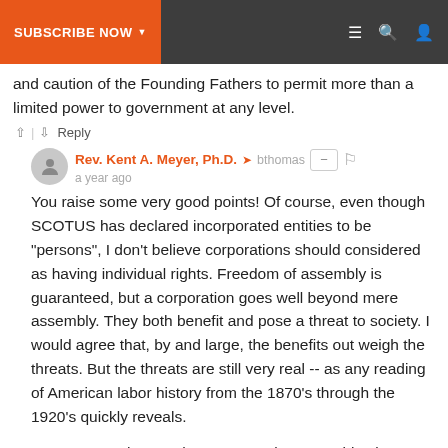SUBSCRIBE NOW | menu | search | account
and caution of the Founding Fathers to permit more than a limited power to government at any level.
↑ | ↓  Reply
Rev. Kent A. Meyer, Ph.D. → bthomas  a year ago
You raise some very good points! Of course, even though SCOTUS has declared incorporated entities to be "persons", I don't believe corporations should considered as having individual rights. Freedom of assembly is guaranteed, but a corporation goes well beyond mere assembly. They both benefit and pose a threat to society. I would agree that, by and large, the benefits out weigh the threats. But the threats are still very real -- as any reading of American labor history from the 1870's through the 1920's quickly reveals.
I'm not sure what you have to say about my objection to the original post -- you would need to spell out the connection. Defending corporation rights hardly